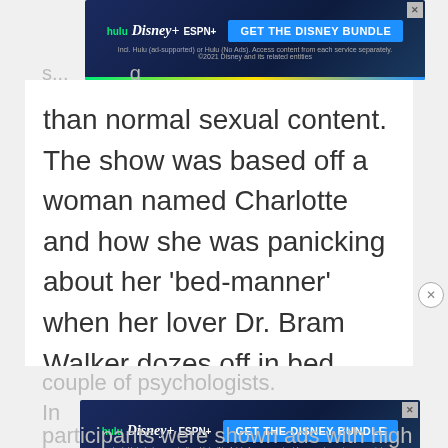[Figure (screenshot): Disney Bundle advertisement banner (Hulu, Disney+, ESPN+) with blue gradient background and 'GET THE DISNEY BUNDLE' button]
than normal sexual content. The show was based off a woman named Charlotte and how she was panicking about her ‘bed-manner’ when her lover Dr. Bram Walker dozes off in bed once after his hard day of work. She decided to take a tantric class. The class is given by hands on demonstrations by a
couple of psychologists.
[Figure (screenshot): Disney Bundle advertisement banner (Hulu, Disney+, ESPN+) with blue gradient background and 'GET THE DISNEY BUNDLE' button]
participants were shown ads with high